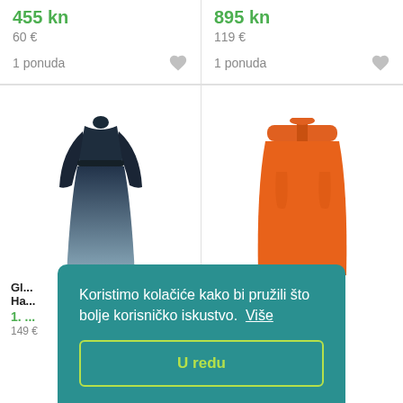455 kn
60 €
1 ponuda
895 kn
119 €
1 ponuda
[Figure (photo): Dark navy long-sleeve belted maxi dress on white background]
[Figure (photo): Orange midi skirt with tie waist on white background]
Gl... Ha...
1. ...
149 €
60 €
Koristimo kolačiće kako bi pružili što bolje korisničko iskustvo.  Više
U redu